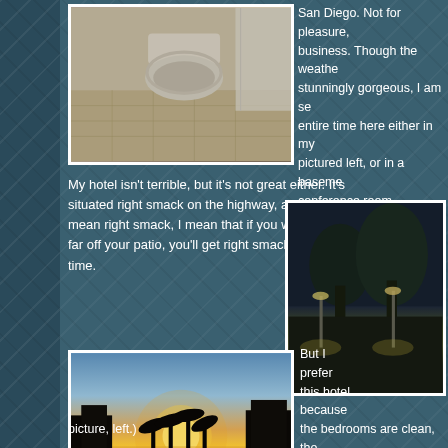[Figure (photo): Bathroom interior with toilet and shower curtain, yellowish tile floor]
San Diego. Not for pleasure, business. Though the weather stunningly gorgeous, I am se entire time here either in my pictured left, or in a baseme conference room (intentional
My hotel isn't terrible, but it's not great either. It's situated right smack on the highway, and when I mean right smack, I mean that if you walked too far off your patio, you'll get right smacked. Big time.
[Figure (photo): Night scene with trees and illuminated structures, highway view]
[Figure (photo): Sunset view with palm trees silhouetted against orange and blue sky near ocean]
But I prefer this hotel because the bedrooms are clean, the includes eggs, and it has a fu including a lower body mach For Life workouts. This is mo me than the froofy places tha staying, with the rest of my te
picture, left.)